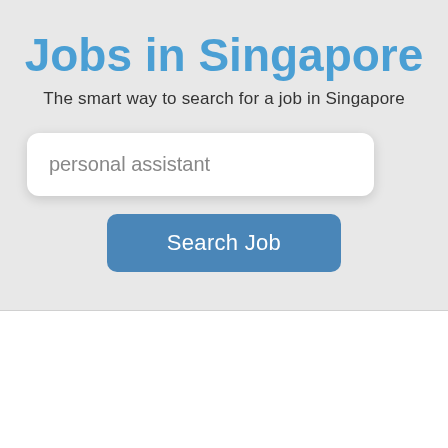Jobs in Singapore
The smart way to search for a job in Singapore
[Figure (screenshot): Search input field with placeholder text 'personal assistant']
[Figure (screenshot): Blue 'Search Job' button]